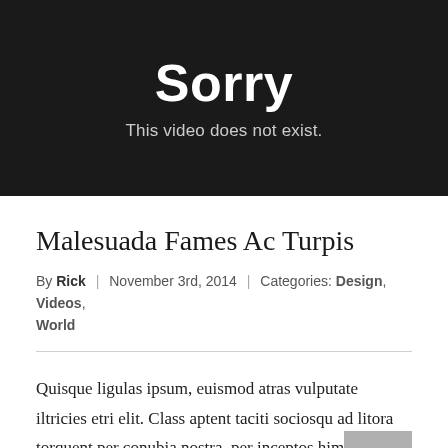[Figure (screenshot): Black video player error screen showing 'Sorry' in large white bold text and subtitle 'This video does not exist.' in light gray text]
Malesuada Fames Ac Turpis
By Rick | November 3rd, 2014 | Categories: Design, Videos, World
Quisque ligulas ipsum, euismod atras vulputate iltricies etri elit. Class aptent taciti sociosqu ad litora torquent per conubia nostra, per inceptos himenaeos. Nulla nunc dui, tristique in [...]